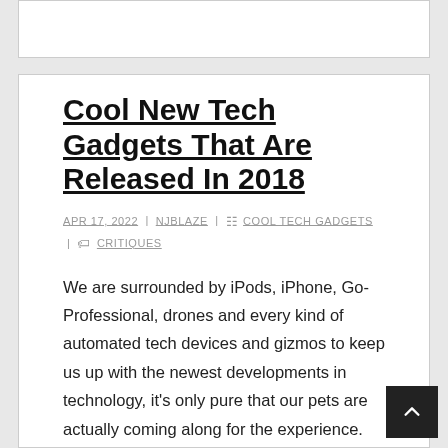Cool New Tech Gadgets That Are Released In 2018
APR 17, 2022 | NJBLAZE | COOL TECH GADGETS | CRITIQUES
We are surrounded by iPods, iPhone, Go-Professional, drones and every kind of automated tech devices and gizmos to keep us up with the newest developments in technology, it's only pure that our pets are actually coming along for the experience. Right now's students are incredibly in tune with new know-how and are at all times searching for cool tech devices to play with. After we stay in a world the place